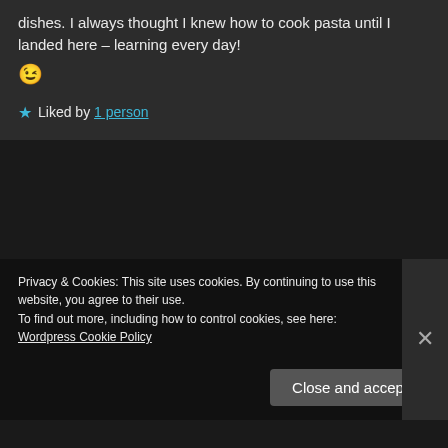dishes. I always thought I knew how to cook pasta until I landed here – learning every day! 😉
★ Liked by 1 person
Rachna
December 18, 2018 at 03:20
Oh wow, Nilla. This was simply spectacular. You had so many cliffhanger moments. It's a very challenging trail I've to say. Did I tell you how envious I am of the places you travel to. 😊
Privacy & Cookies: This site uses cookies. By continuing to use this website, you agree to their use.
To find out more, including how to control cookies, see here: Wordpress Cookie Policy
Close and accept